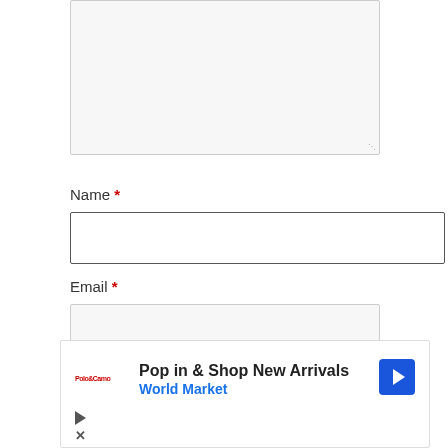[Figure (screenshot): Comment textarea input box, partially visible at top of page, with light gray background and resize handle at bottom-right corner]
Name *
[Figure (screenshot): Name text input field, empty, with dark border]
Email *
[Figure (screenshot): Email text input field, empty, with light gray background]
[Figure (screenshot): Advertisement banner: Pop in & Shop New Arrivals - World Market, with logo, arrow icon, play and close controls]